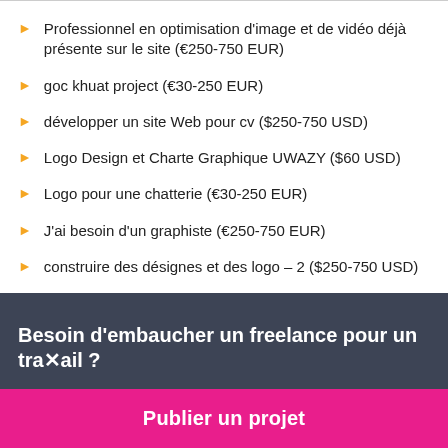Professionnel en optimisation d'image et de vidéo déjà présente sur le site (€250-750 EUR)
goc khuat project (€30-250 EUR)
développer un site Web pour cv ($250-750 USD)
Logo Design et Charte Graphique UWAZY ($60 USD)
Logo pour une chatterie (€30-250 EUR)
J'ai besoin d'un graphiste (€250-750 EUR)
construire des désignes et des logo – 2 ($250-750 USD)
Besoin d'embaucher un freelance pour un travail ?
Publier un projet